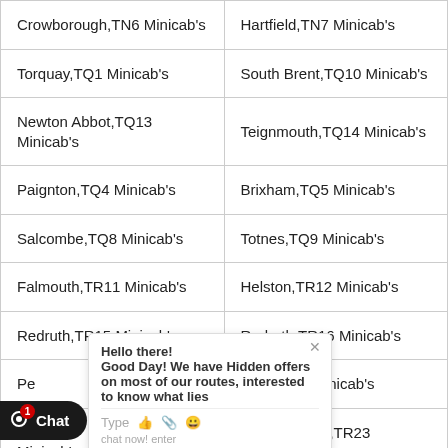| Crowborough,TN6 Minicab's | Hartfield,TN7 Minicab's |
| Torquay,TQ1 Minicab's | South Brent,TQ10 Minicab's |
| Newton Abbot,TQ13 Minicab's | Teignmouth,TQ14 Minicab's |
| Paignton,TQ4 Minicab's | Brixham,TQ5 Minicab's |
| Salcombe,TQ8 Minicab's | Totnes,TQ9 Minicab's |
| Falmouth,TR11 Minicab's | Helston,TR12 Minicab's |
| Redruth,TR15 Minicab's | Redruth,TR16 Minicab's |
| Pe[...]nicab's | Truro,TR2 Minicab's |
| Isle[...] Minicab's | Isles Of Scilly,TR23 Minicab's |
| Sa[...]nicab's | Hayle,TR27 Minicab's |
| Sa[...]inicab's | Perranporth,TR6 Minicab's |
| [...]lumb,TR9 Minicab's | Middlesbrough,TS1 Minicab's |